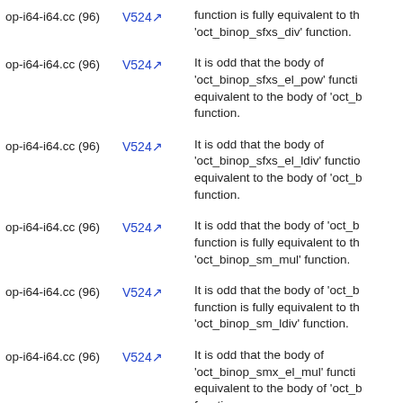op-i64-i64.cc (96) | V524 | function is fully equivalent to the 'oct_binop_sfxs_div' function.
op-i64-i64.cc (96) | V524 | It is odd that the body of 'oct_binop_sfxs_el_pow' function is fully equivalent to the body of 'oct_b' function.
op-i64-i64.cc (96) | V524 | It is odd that the body of 'oct_binop_sfxs_el_ldiv' function is fully equivalent to the body of 'oct_b' function.
op-i64-i64.cc (96) | V524 | It is odd that the body of 'oct_b' function is fully equivalent to the 'oct_binop_sm_mul' function.
op-i64-i64.cc (96) | V524 | It is odd that the body of 'oct_b' function is fully equivalent to the 'oct_binop_sm_ldiv' function.
op-i64-i64.cc (96) | V524 | It is odd that the body of 'oct_binop_smx_el_mul' function is fully equivalent to the body of 'oct_b' function.
op-i64-i64.cc (96) | V524 | It is odd that the body of 'oct_binop_smx_el_ldiv' function is fully equivalent to the body of 'oct_b' function.
op-i64-i64.cc (96) | V524 | It is odd that the body of